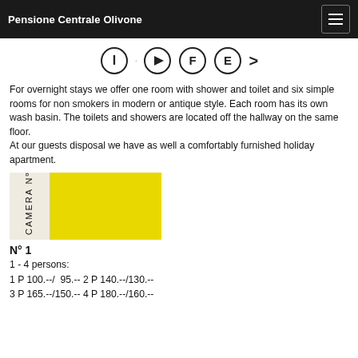Pensione Centrale Olivone
[Figure (infographic): Navigation icons row with circles containing letters I, D, F, E and a > arrow]
For overnight stays we offer one room with shower and toilet and six simple rooms for non smokers in modern or antique style. Each room has its own wash basin. The toilets and showers are located off the hallway on the same floor.
At our guests disposal we have as well a comfortably furnished holiday apartment.
[Figure (photo): Photo of room with bright yellow background, showing handwritten text 'CAMERA No 1' on left side]
N° 1
1 - 4 persons:
1 P 100.--/  95.-- 2 P 140.--/130.--
3 P 165.--/150.-- 4 P 180.--/160.--